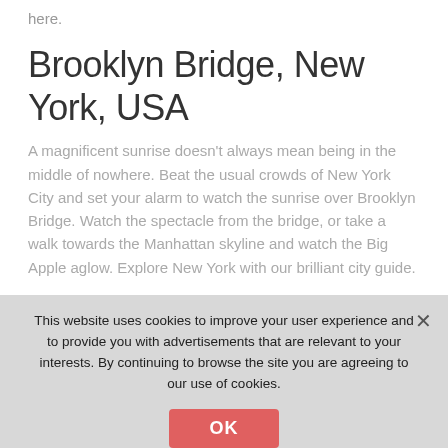here.
Brooklyn Bridge, New York, USA
A magnificent sunrise doesn't always mean being in the middle of nowhere. Beat the usual crowds of New York City and set your alarm to watch the sunrise over Brooklyn Bridge. Watch the spectacle from the bridge, or take a walk towards the Manhattan skyline and watch the Big Apple aglow. Explore New York with our brilliant city guide.
Monument Valley, Arizona, USA
This website uses cookies to improve your user experience and to provide you with advertisements that are relevant to your interests. By continuing to browse the site you are agreeing to our use of cookies.